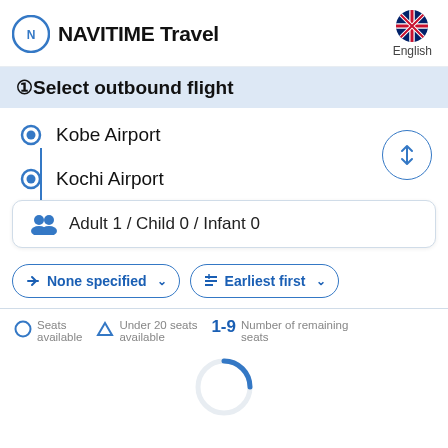NAVITIME Travel — English
①Select outbound flight
Kobe Airport
Kochi Airport
Adult 1 / Child 0 / Infant 0
None specified
Earliest first
Seats available
Under 20 seats available
1-9 Number of remaining seats